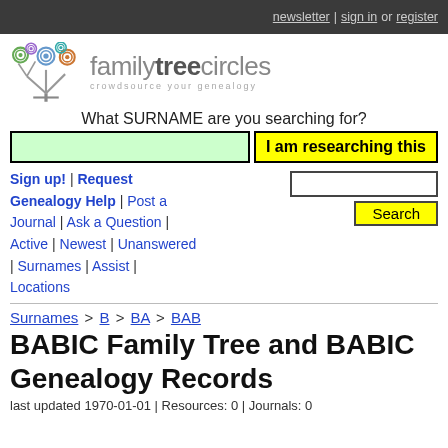newsletter | sign in or register
[Figure (logo): Family Tree Circles logo with colorful spiral tree and text 'familytreecircles - crowdsource your genealogy']
What SURNAME are you searching for?
Sign up! | Request Genealogy Help | Post a Journal | Ask a Question | Active | Newest | Unanswered | Surnames | Assist | Locations
Surnames > B > BA > BAB
BABIC Family Tree and BABIC Genealogy Records
last updated 1970-01-01 | Resources: 0 | Journals: 0